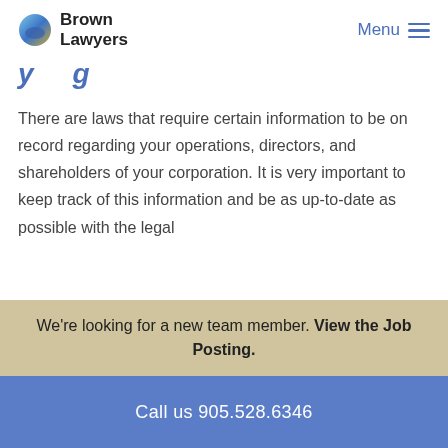Brown Lawyers | Menu
...yg...
There are laws that require certain information to be on record regarding your operations, directors, and shareholders of your corporation. It is very important to keep track of this information and be as up-to-date as possible with the legal
We're looking for a new team member. View the Job Posting.
Call us 905.528.6346